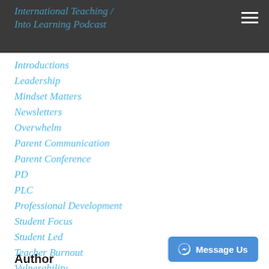International Teaching / Into Learning Podcast
Introductions
Leadership
Mindset Matters
Newsletters
Overwhelm
Parent Communication
Parent Conference
PD
PLC
Professional Development
Student Focus
Student Led
Teacher Burnout
Vulnerability
Wonder Walks
Writing Workshop
Author
Message Us